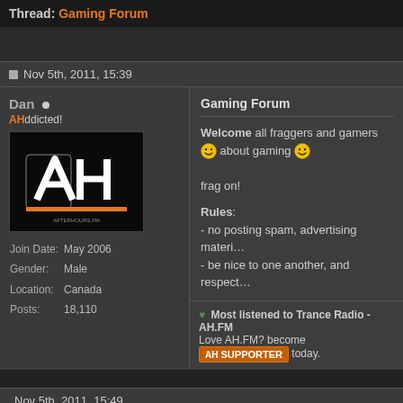Thread: Gaming Forum
Nov 5th, 2011, 15:39
Dan • AHddicted!
[Figure (logo): AfterHours.FM logo - dark background with stylized AH letters in white/orange]
| Join Date: | May 2006 |
| Gender: | Male |
| Location: | Canada |
| Posts: | 18,110 |
Gaming Forum
Welcome all fraggers and gamers 😄 about gaming 😄

frag on!

Rules:
- no posting spam, advertising materi...
- be nice to one another, and respect...
♥ Most listened to Trance Radio - AH.FM
Love AH.FM? become [AH SUPPORTER] today.
Nov 5th, 2011, 15:49